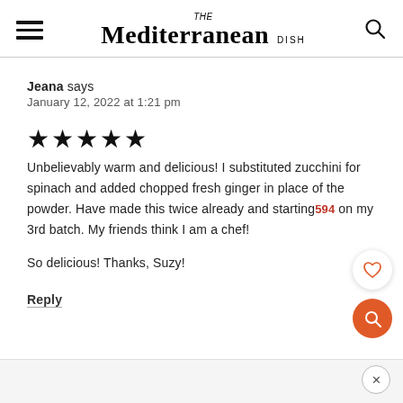THE Mediterranean DISH
Jeana says
January 12, 2022 at 1:21 pm
★★★★★ Unbelievably warm and delicious! I substituted zucchini for spinach and added chopped fresh ginger in place of the powder. Have made this twice already and starting on my 3rd batch. My friends think I am a chef!

So delicious! Thanks, Suzy!
Reply